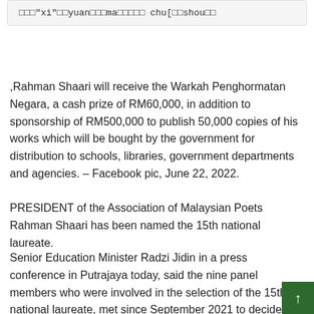□□□"xi"□□yuan□□□ma□□□□□ chu[□□shou□□
,Rahman Shaari will receive the Warkah Penghormatan Negara, a cash prize of RM60,000, in addition to sponsorship of RM500,000 to publish 50,000 copies of his works which will be bought by the government for distribution to schools, libraries, government departments and agencies. – Facebook pic, June 22, 2022.
PRESIDENT of the Association of Malaysian Poets Rahman Shaari has been named the 15th national laureate.
Senior Education Minister Radzi Jidin in a press conference in Putrajaya today, said the nine panel members who were involved in the selection of the 15th national laureate, met since September 2021 to decide on